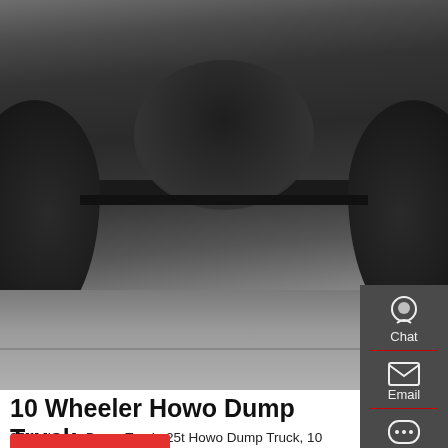[Figure (photo): Underside/chassis view of a 10 Wheeler Howo Dump Truck photographed from below showing axles, suspension, tires, and drivetrain components on pavement]
10 Wheeler Howo Dump Truck
25ton Howo Dump Truck, 25t Howo Dump Truck, 10 Wheeler Howo Dump Truck: 2. 290hp, 336hp, 371hp, 420hp engine power are optional Other technical details according to CNHTC factory standard: Packaging & Shipping. Usually Our Truck can be shipped by Ro-ro ship or Bulk ship or Container or Flat rack.